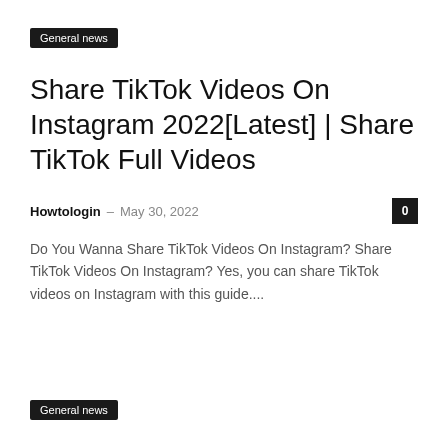General news
Share TikTok Videos On Instagram 2022[Latest] | Share TikTok Full Videos
Howtologin - May 30, 2022
Do You Wanna Share TikTok Videos On Instagram? Share TikTok Videos On Instagram? Yes, you can share TikTok videos on Instagram with this guide....
General news